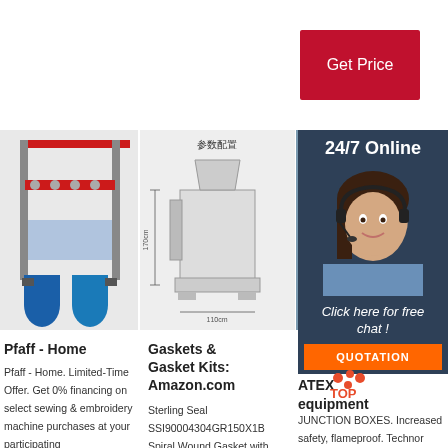Get Price
[Figure (photo): Industrial machine with red frame and blue barrel]
[Figure (engineering-diagram): Spiral wound gasket machine diagram with Chinese text 参数配置]
[Figure (photo): Industrial equipment photo (partially hidden by overlay)]
24/7 Online
Click here for free chat !
QUOTATION
Pfaff - Home
Pfaff - Home. Limited-Time Offer. Get 0% financing on select sewing & embroidery machine purchases at your participating
Gaskets & Gasket Kits: Amazon.com
Sterling Seal SSI90004304GR150X1B Spiral Wound Gasket with Flexible Filler for 4' Pipe, Pressure
TECHNOR Italsmea ATEX equipment
JUNCTION BOXES. Increased safety, flameproof. Technor Italsmea offers a